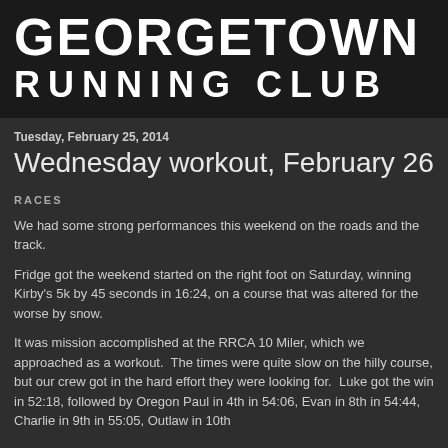GEORGETOWN RUNNING CLUB
Tuesday, February 25, 2014
Wednesday workout, February 26
RACES
We had some strong performances this weekend on the roads and the track.
Fridge got the weekend started on the right foot on Saturday, winning Kirby's 5k by 45 seconds in 16:24, on a course that was altered for the worse by snow.
It was mission accomplished at the RRCA 10 Miler, which we approached as a workout.  The times were quite slow on the hilly course, but our crew got in the hard effort they were looking for.  Luke got the win in 52:18, followed by Oregon Paul in 4th in 54:06, Evan in 8th in 54:44, Charlie in 9th in 55:05, Outlaw in 10th in 55:15, Maryland Falconer in 11th, and 45-1 in 55:57, for a total 10th place...